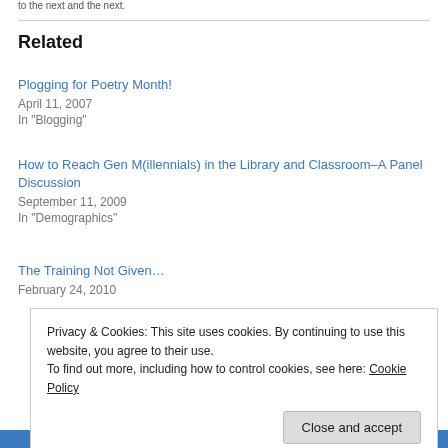Related
Plogging for Poetry Month!
April 11, 2007
In "Blogging"
How to Reach Gen M(illennials) in the Library and Classroom–A Panel Discussion
September 11, 2009
In "Demographics"
The Training Not Given…
February 24, 2010
Privacy & Cookies: This site uses cookies. By continuing to use this website, you agree to their use.
To find out more, including how to control cookies, see here: Cookie Policy
Close and accept